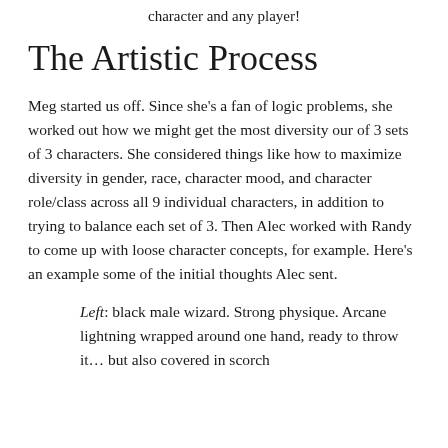character and any player!
The Artistic Process
Meg started us off.  Since she's a fan of logic problems, she worked out how we might get the most diversity our of 3 sets of 3 characters.  She considered things like how to maximize diversity in gender, race, character mood, and character role/class across all 9 individual characters, in addition to trying to balance each set of 3.  Then Alec worked with Randy to come up with loose character concepts, for example.  Here's an example some of the initial thoughts Alec sent.
Left: black male wizard.  Strong physique.  Arcane lightning wrapped around one hand, ready to throw it… but also covered in scorch